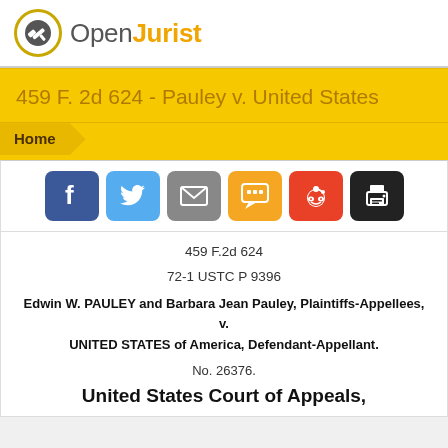OpenJurist
459 F. 2d 624 - Pauley v. United States
Home
[Figure (other): Social sharing buttons: Facebook, Twitter, Email, SMS, Reddit, Print]
459 F.2d 624
72-1 USTC P 9396
Edwin W. PAULEY and Barbara Jean Pauley, Plaintiffs-Appellees, v. UNITED STATES of America, Defendant-Appellant.
No. 26376.
United States Court of Appeals,